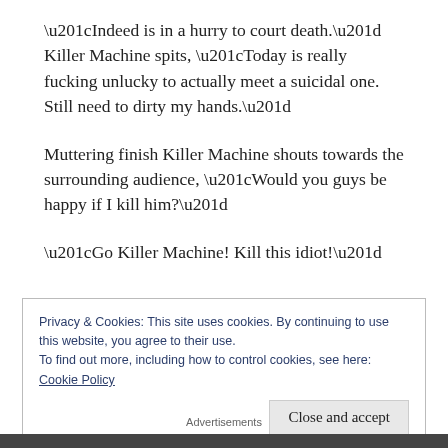“Indeed is in a hurry to court death.” Killer Machine spits, “Today is really fucking unlucky to actually meet a suicidal one. Still need to dirty my hands.”
Muttering finish Killer Machine shouts towards the surrounding audience, “Would you guys be happy if I kill him?”
“Go Killer Machine! Kill this idiot!”
Privacy & Cookies: This site uses cookies. By continuing to use this website, you agree to their use.
To find out more, including how to control cookies, see here:
Cookie Policy
Close and accept
Advertisements